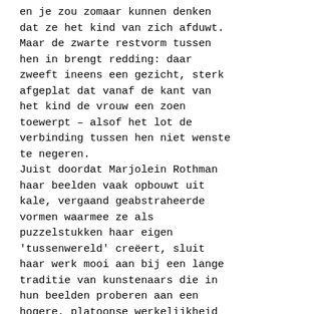en je zou zomaar kunnen denken dat ze het kind van zich afduwt. Maar de zwarte restvorm tussen hen in brengt redding: daar zweeft ineens een gezicht, sterk afgeplat dat vanaf de kant van het kind de vrouw een zoen toewerpt – alsof het lot de verbinding tussen hen niet wenste te negeren.
Juist doordat Marjolein Rothman haar beelden vaak opbouwt uit kale, vergaand geabstraheerde vormen waarmee ze als puzzelstukken haar eigen 'tussenwereld' creëert, sluit haar werk mooi aan bij een lange traditie van kunstenaars die in hun beelden proberen aan een hogere, platoonse werkelijkheid te raken – een werkelijkheid, los van het leven van alledag die misschien wel iets van een hogere', algemene' waarheid vertegenwoordigt – in het volle bewustzijn van de blijlijkheid d